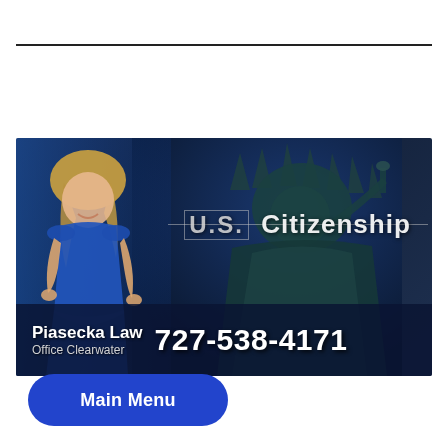[Figure (photo): Advertisement banner for Piasecka Law - features a blonde woman in a blue dress standing in front of a Statue of Liberty background with text 'U.S. Citizenship', 'Piasecka Law Office Clearwater', and phone number '727-538-4171']
Main Menu